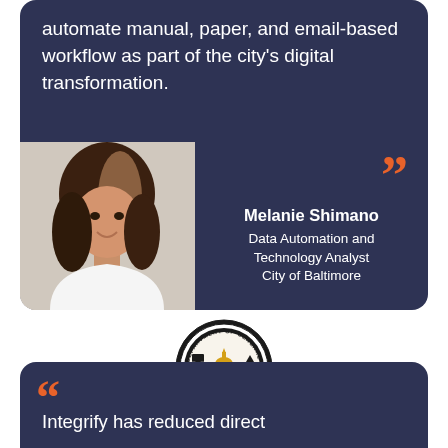automate manual, paper, and email-based workflow as part of the city's digital transformation.
[Figure (photo): Portrait photo of Melanie Shimano, a woman with long highlighted hair, wearing a white blazer, smiling.]
Melanie Shimano
Data Automation and Technology Analyst
City of Baltimore
[Figure (logo): City of Baltimore Department of General Services circular seal/logo with gold and black colors, established 2009.]
Integrify has reduced direct